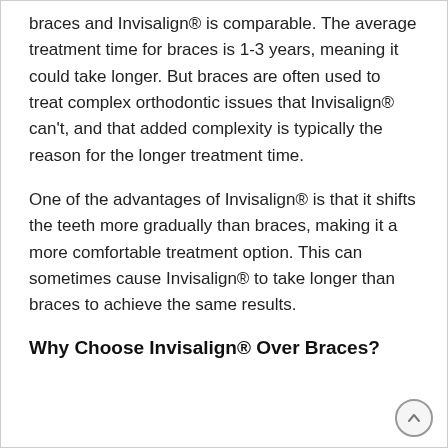braces and Invisalign® is comparable. The average treatment time for braces is 1-3 years, meaning it could take longer. But braces are often used to treat complex orthodontic issues that Invisalign® can't, and that added complexity is typically the reason for the longer treatment time.
One of the advantages of Invisalign® is that it shifts the teeth more gradually than braces, making it a more comfortable treatment option. This can sometimes cause Invisalign® to take longer than braces to achieve the same results.
Why Choose Invisalign® Over Braces?